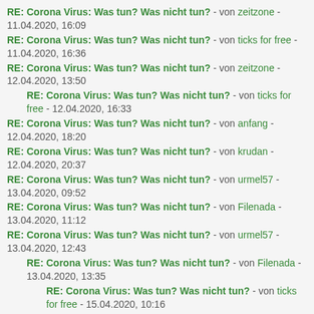RE: Corona Virus: Was tun? Was nicht tun? - von zeitzone - 11.04.2020, 16:09
RE: Corona Virus: Was tun? Was nicht tun? - von ticks for free - 11.04.2020, 16:36
RE: Corona Virus: Was tun? Was nicht tun? - von zeitzone - 12.04.2020, 13:50
RE: Corona Virus: Was tun? Was nicht tun? - von ticks for free - 12.04.2020, 16:33
RE: Corona Virus: Was tun? Was nicht tun? - von anfang - 12.04.2020, 18:20
RE: Corona Virus: Was tun? Was nicht tun? - von krudan - 12.04.2020, 20:37
RE: Corona Virus: Was tun? Was nicht tun? - von urmel57 - 13.04.2020, 09:52
RE: Corona Virus: Was tun? Was nicht tun? - von Filenada - 13.04.2020, 11:12
RE: Corona Virus: Was tun? Was nicht tun? - von urmel57 - 13.04.2020, 12:43
RE: Corona Virus: Was tun? Was nicht tun? - von Filenada - 13.04.2020, 13:35
RE: Corona Virus: Was tun? Was nicht tun? - von ticks for free - 15.04.2020, 10:16
RE: Corona Virus: Was tun? Was nicht tun? - von urmel57 -